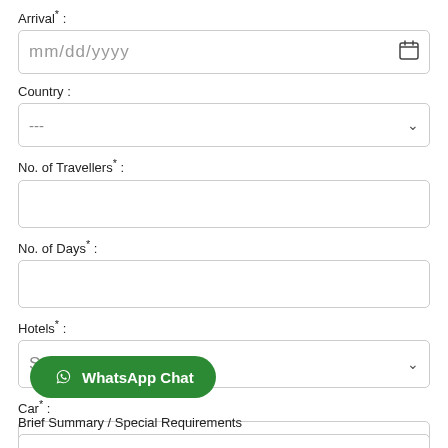Arrival* :
[Figure (screenshot): Date input field showing mm/dd/yyyy placeholder with calendar icon]
Country :
[Figure (screenshot): Dropdown select field showing --- as default value]
No. of Travellers* :
[Figure (screenshot): Empty text input field for number of travellers]
No. of Days* :
[Figure (screenshot): Empty text input field for number of days]
Hotels* :
[Figure (screenshot): Dropdown select field showing Select Hotel Category placeholder]
Car* :
[Figure (screenshot): Dropdown select field showing Select Vehicle type placeholder]
[Figure (screenshot): WhatsApp Chat green button with WhatsApp icon]
Brief Summary / Special Requirements
[Figure (screenshot): Partially visible text area at bottom of page]